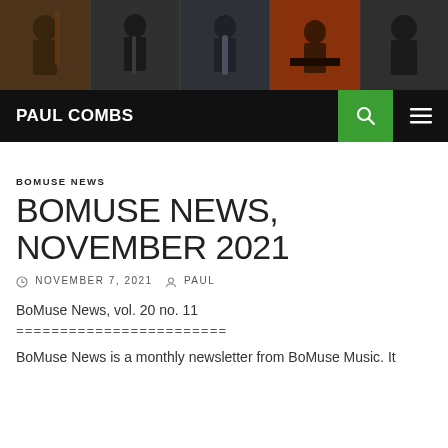[Figure (photo): Banner photo strip showing five musicians playing instruments: bassist, clarinetist, saxophonist, pianist, and another musician, in dark performance settings]
PAUL COMBS
BOMUSE NEWS
BOMUSE NEWS, NOVEMBER 2021
NOVEMBER 7, 2021   PAUL
BoMuse News, vol. 20 no. 11
========================
BoMuse News is a monthly newsletter from BoMuse Music. It